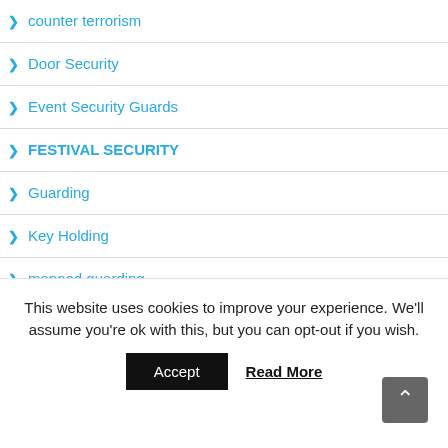> counter terrorism
> Door Security
> Event Security Guards
> FESTIVAL SECURITY
> Guarding
> Key Holding
> manned guarding
> Mobile Security
This website uses cookies to improve your experience. We'll assume you're ok with this, but you can opt-out if you wish.
Accept  Read More